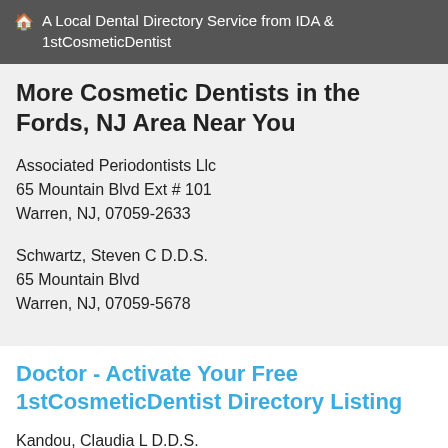🏠 A Local Dental Directory Service from IDA & 1stCosmeticDentist
More Cosmetic Dentists in the Fords, NJ Area Near You
Associated Periodontists Llc
65 Mountain Blvd Ext # 101
Warren, NJ, 07059-2633
Schwartz, Steven C D.D.S.
65 Mountain Blvd
Warren, NJ, 07059-5678
Doctor - Activate Your Free 1stCosmeticDentist Directory Listing
Kandou, Claudia L D.D.S.
163 Washington Valley Rd # 106
Warren, NJ, 07059-7181
Grob, Oscar D.D.S.
1 Mountain Blvd
Warren, NJ, 07059-2637